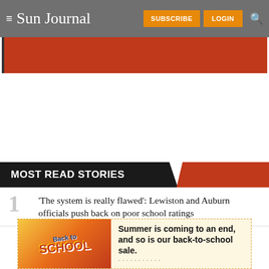Sun Journal — SUBSCRIBE LOGIN
[Figure (other): Red banner image below header navigation]
MOST READ STORIES
'The system is really flawed': Lewiston and Auburn officials push back on poor school ratings
[Figure (other): Back to School advertisement banner — Summer is coming to an end, and so is our back-to-school sale.]